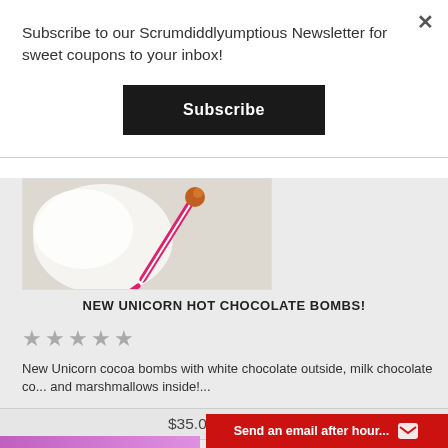× (close button)
Subscribe to our Scrumdiddlyumptious Newsletter for sweet coupons to your inbox!
Subscribe
[Figure (photo): Product photo showing a unicorn hot chocolate bomb with pink and white colors on a light background]
NEW UNICORN HOT CHOCOLATE BOMBS!
★★★★★ (star rating, 5 stars outlined/grey)
New Unicorn cocoa bombs with white chocolate outside, milk chocolate co... and marshmallows inside!...
$35.00 – $60.00
Send an email after hour...